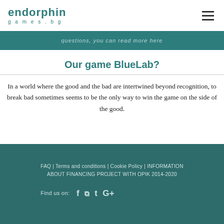endorphin games.bg
questions, you can read more here
Our game BlueLab?
In a world where the good and the bad are intertwined beyond recognition, to break bad sometimes seems to be the only way to win the game on the side of the good.
FAQ | Terms and conditions | Cookie Policy | INFORMATION ABOUT FINANCING PROJECT WITH OPIK 2014-2020
Find us on: f [tripadvisor] [twitter] G+